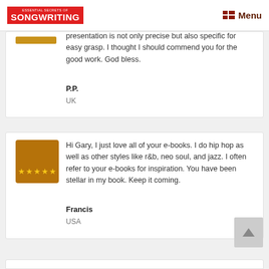Essential Secrets of Songwriting — Menu
presentation is not only precise but also specific for easy grasp. I thought I should commend you for the good work. God bless.

P.P.
UK
Hi Gary, I just love all of your e-books. I do hip hop as well as other styles like r&b, neo soul, and jazz. I often refer to your e-books for inspiration. You have been stellar in my book. Keep it coming.

Francis
USA